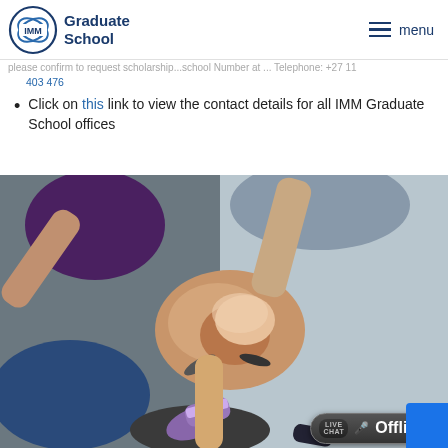IMM Graduate School — navigation bar with logo and menu
please confirm to request scholarship ...school Number at ... Telephone: +27 11 403 476
403 476
Click on this link to view the contact details for all IMM Graduate School offices
[Figure (photo): Overhead view of a diverse group of people standing in a circle with their hands all stacked together in the center, symbolizing teamwork and unity. A live chat 'Offline' badge is overlaid in the bottom right corner.]